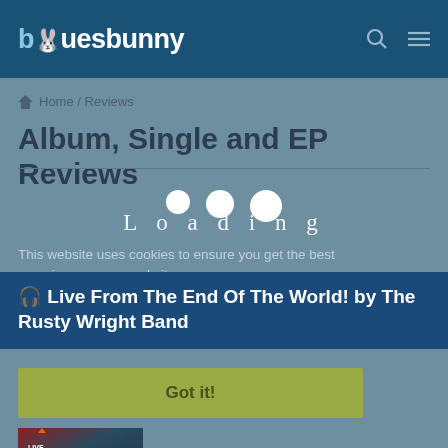bluesbunny
Home / Reviews
Album, Single and EP Reviews
Loading
This website uses cookies to ensure you get the best experience on our website.
Learn more
🎧 Live From The End Of The World! by The Rusty Wright Band
Got it!
[Figure (photo): Album cover for Live From The End Of The World by The Rusty Wright Band]